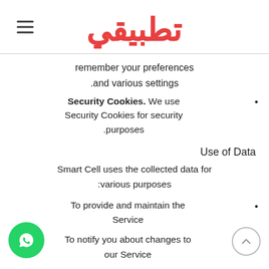تطبيقي (logo)
remember your preferences and various settings.
Security Cookies. We use Security Cookies for security purposes.
Use of Data
Smart Cell uses the collected data for various purposes:
To provide and maintain the Service
To notify you about changes to our Service